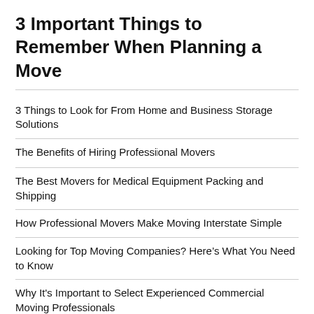3 Important Things to Remember When Planning a Move
3 Things to Look for From Home and Business Storage Solutions
The Benefits of Hiring Professional Movers
The Best Movers for Medical Equipment Packing and Shipping
How Professional Movers Make Moving Interstate Simple
Looking for Top Moving Companies? Here’s What You Need to Know
Why It's Important to Select Experienced Commercial Moving Professionals
Boise Movers